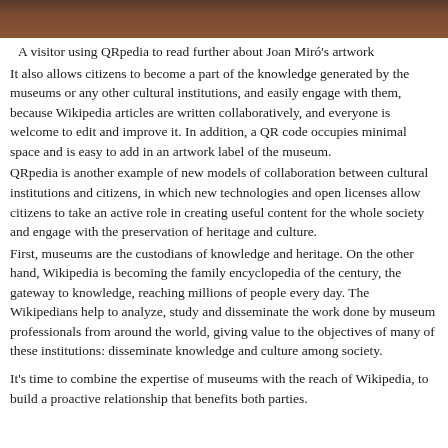[Figure (photo): Top portion of an image showing a person, partially cropped, with warm brown tones.]
A visitor using QRpedia to read further about Joan Miró's artwork
It also allows citizens to become a part of the knowledge generated by the museums or any other cultural institutions, and easily engage with them, because Wikipedia articles are written collaboratively, and everyone is welcome to edit and improve it. In addition, a QR code occupies minimal space and is easy to add in an artwork label of the museum.
QRpedia is another example of new models of collaboration between cultural institutions and citizens, in which new technologies and open licenses allow citizens to take an active role in creating useful content for the whole society and engage with the preservation of heritage and culture.
First, museums are the custodians of knowledge and heritage. On the other hand, Wikipedia is becoming the family encyclopedia of the century, the gateway to knowledge, reaching millions of people every day. The Wikipedians help to analyze, study and disseminate the work done by museum professionals from around the world, giving value to the objectives of many of these institutions: disseminate knowledge and culture among society.
It's time to combine the expertise of museums with the reach of Wikipedia, to build a proactive relationship that benefits both parties.